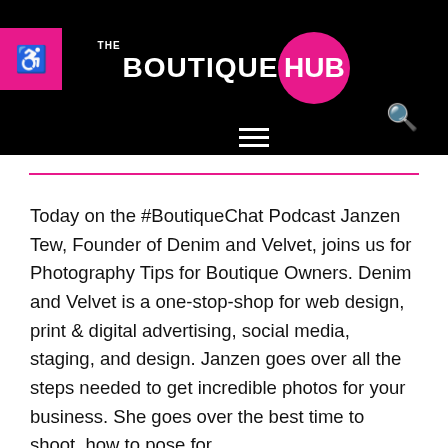[Figure (logo): The Boutique Hub logo: white text 'THE BOUTIQUEHUB' on black background, with HUB inside a magenta/pink circle. Accessibility icon button in magenta on left. Hamburger menu and search icon in navigation row below.]
Today on the #BoutiqueChat Podcast Janzen Tew, Founder of Denim and Velvet, joins us for Photography Tips for Boutique Owners. Denim and Velvet is a one-stop-shop for web design, print & digital advertising, social media, staging, and design. Janzen goes over all the steps needed to get incredible photos for your business. She goes over the best time to shoot, how to pose for